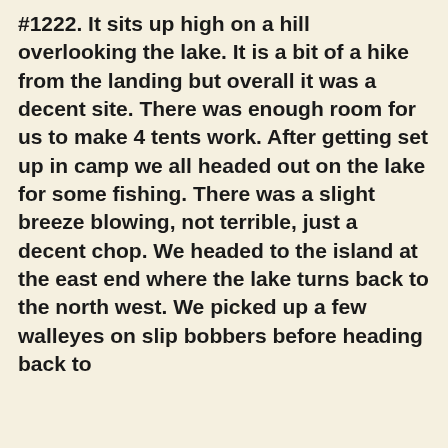#1222. It sits up high on a hill overlooking the lake. It is a bit of a hike from the landing but overall it was a decent site. There was enough room for us to make 4 tents work. After getting set up in camp we all headed out on the lake for some fishing. There was a slight breeze blowing, not terrible, just a decent chop. We headed to the island at the east end where the lake turns back to the north west. We picked up a few walleyes on slip bobbers before heading back to
camp for a nice dinner of venison steaks and another hour fishing before heading back for bed. Not a bad first day. Easy traveling and our
We use cookies to enhance your experience, for analytics, and to support 3rd party content and advertising providers. If you continue using this website, you agree to our privacy and legal agreement. Ok